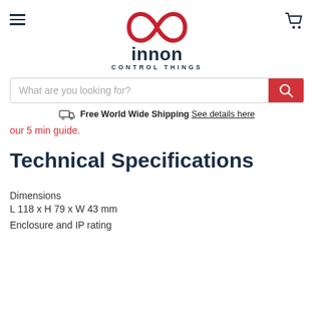innon CONTROL THINGS
What are you looking for?
Free World Wide Shipping See details here
our 5 min guide.
Technical Specifications
Dimensions
L 118 x H 79 x W 43 mm
Enclosure and IP rating